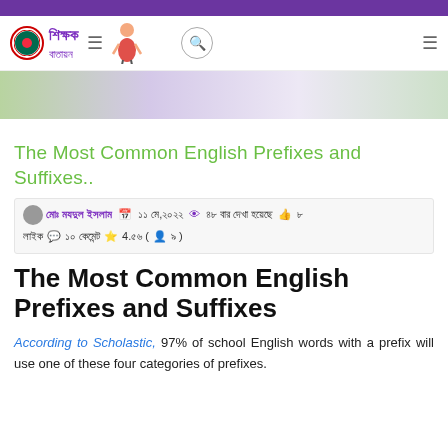শিক্ষক বাতায়ন - website header navigation
[Figure (screenshot): Blurred banner image with green and purple gradient background]
The Most Common English Prefixes and Suffixes..
মোঃ মযদুল ইসলাম  ১১ মে,২০২২  ৪৮ বার দেখা হয়েছে  ৮ লাইক  ১০ কেমেন্ট  4.৫৬ (৯)
The Most Common English Prefixes and Suffixes
According to Scholastic, 97% of school English words with a prefix will use one of these four categories of prefixes.